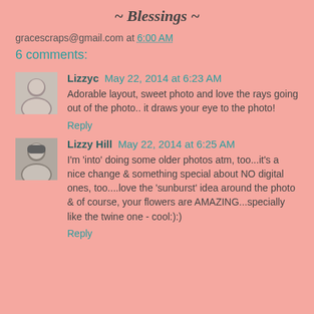~ Blessings ~
gracescraps@gmail.com at 6:00 AM
6 comments:
Lizzyc May 22, 2014 at 6:23 AM
Adorable layout, sweet photo and love the rays going out of the photo.. it draws your eye to the photo!
Reply
Lizzy Hill May 22, 2014 at 6:25 AM
I'm 'into' doing some older photos atm, too...it's a nice change & something special about NO digital ones, too....love the 'sunburst' idea around the photo & of course, your flowers are AMAZING...specially like the twine one - cool:):)
Reply